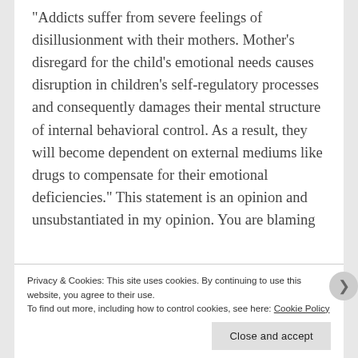“Addicts suffer from severe feelings of disillusionment with their mothers. Mother’s disregard for the child’s emotional needs causes disruption in children’s self-regulatory processes and consequently damages their mental structure of internal behavioral control. As a result, they will become dependent on external mediums like drugs to compensate for their emotional deficiencies.” This statement is an opinion and unsubstantiated in my opinion. You are blaming the mother for their child’s alcohol addiction when in fact I believe it is a genetic disease.
Privacy & Cookies: This site uses cookies. By continuing to use this website, you agree to their use.
To find out more, including how to control cookies, see here: Cookie Policy
Close and accept